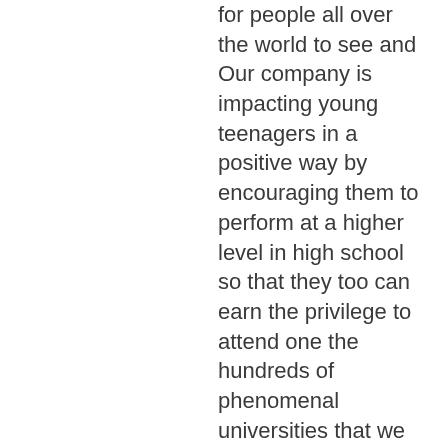for people all over the world to see and Our company is impacting young teenagers in a positive way by encouraging them to perform at a higher level in high school so that they too can earn the privilege to attend one the hundreds of phenomenal universities that we have here in the United States. The partying is going take place whether or not we are there to document it. This is the age of technology, in 100 years people will ask "I wonder what was the experience for a young adult at an american collegein the